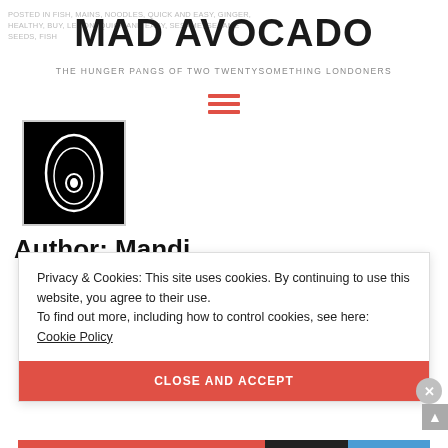POSTED IN FISH, MAINS, NOODLES, QUICK AND EASY, GINGER, HEALTHY, BUY, LEMON, QUICK AND EASY, SESAME, SESAME SEEDS, FISH
MAD AVOCADO
THE HUNGER PANGS OF TWO TWENTYSOMETHING LONDONERS
[Figure (other): Hamburger menu icon in red]
[Figure (logo): Avocado logo: white outline of avocado with pit on black background]
Author: Mandi
Privacy & Cookies: This site uses cookies. By continuing to use this website, you agree to their use.
To find out more, including how to control cookies, see here: Cookie Policy
CLOSE AND ACCEPT